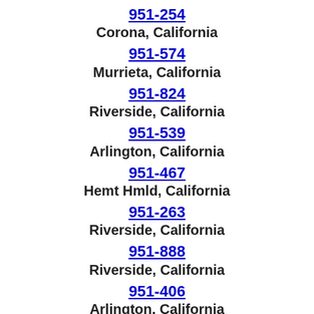951-254
Corona, California
951-574
Murrieta, California
951-824
Riverside, California
951-539
Arlington, California
951-467
Hemt Hmld, California
951-263
Riverside, California
951-888
Riverside, California
951-406
Arlington, California
951-588
Arlington, California